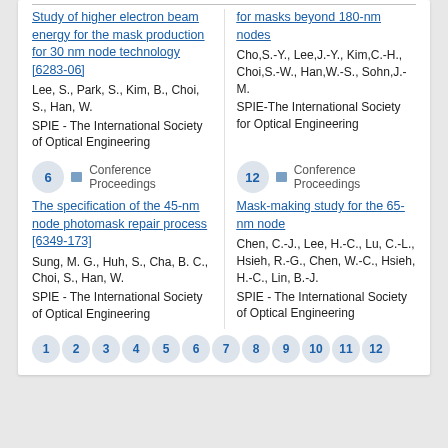Study of higher electron beam energy for the mask production for 30 nm node technology [6283-06]
Lee, S., Park, S., Kim, B., Choi, S., Han, W.
SPIE - The International Society of Optical Engineering
for masks beyond 180-nm nodes
Cho,S.-Y., Lee,J.-Y., Kim,C.-H., Choi,S.-W., Han,W.-S., Sohn,J.-M.
SPIE-The International Society for Optical Engineering
6 — Conference Proceedings
The specification of the 45-nm node photomask repair process [6349-173]
Sung, M. G., Huh, S., Cha, B. C., Choi, S., Han, W.
SPIE - The International Society of Optical Engineering
12 — Conference Proceedings
Mask-making study for the 65-nm node
Chen, C.-J., Lee, H.-C., Lu, C.-L., Hsieh, R.-G., Chen, W.-C., Hsieh, H.-C., Lin, B.-J.
SPIE - The International Society of Optical Engineering
1 2 3 4 5 6 7 8 9 10 11 12